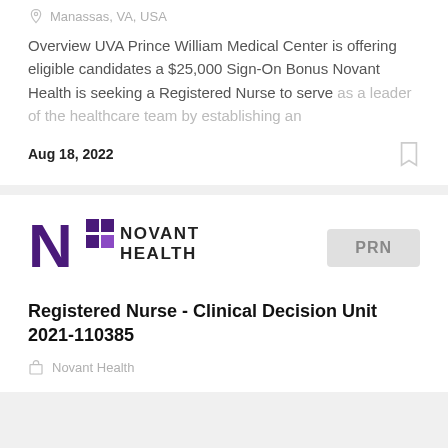Manassas, VA, USA
Overview UVA Prince William Medical Center is offering eligible candidates a $25,000 Sign-On Bonus Novant Health is seeking a Registered Nurse to serve as a leader of the healthcare team by establishing an
Aug 18, 2022
[Figure (logo): Novant Health logo with stylized N and colored squares]
PRN
Registered Nurse - Clinical Decision Unit 2021-110385
Novant Health